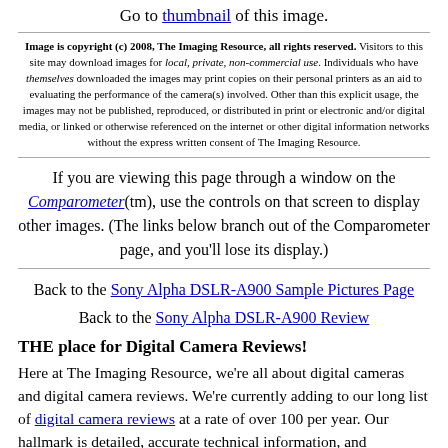Go to thumbnail of this image.
Image is copyright (c) 2008, The Imaging Resource, all rights reserved. Visitors to this site may download images for local, private, non-commercial use. Individuals who have themselves downloaded the images may print copies on their personal printers as an aid to evaluating the performance of the camera(s) involved. Other than this explicit usage, the images may not be published, reproduced, or distributed in print or electronic and/or digital media, or linked or otherwise referenced on the internet or other digital information networks without the express written consent of The Imaging Resource.
If you are viewing this page through a window on the Comparometer(tm), use the controls on that screen to display other images. (The links below branch out of the Comparometer page, and you'll lose its display.)
Back to the Sony Alpha DSLR-A900 Sample Pictures Page
Back to the Sony Alpha DSLR-A900 Review
THE place for Digital Camera Reviews!
Here at The Imaging Resource, we're all about digital cameras and digital camera reviews. We're currently adding to our long list of digital camera reviews at a rate of over 100 per year. Our hallmark is detailed, accurate technical information, and standardized test